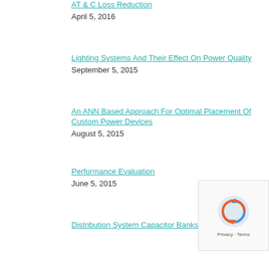AT & C Loss Reduction
April 5, 2016
Lighting Systems And Their Effect On Power Quality
September 5, 2015
An ANN Based Approach For Optimal Placement Of Custom Power Devices
August 5, 2015
Performance Evaluation
June 5, 2015
Distribution System Capacitor Banks And their Impact
[Figure (other): reCAPTCHA verification widget with spinning arrows logo and Privacy/Terms links]